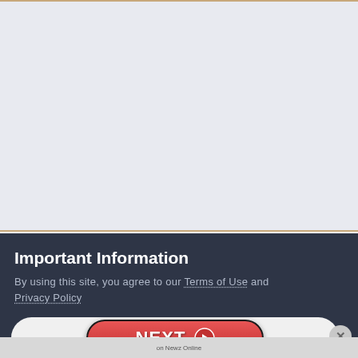[Figure (other): Light gray empty content area with tan/gold border lines at top and bottom]
Important Information
By using this site, you agree to our Terms of Use and Privacy Policy
[Figure (other): NEXT button — red pill-shaped button with white NEXT text and arrow circle, inside a light gray rounded container. X close button on right. 'on Newz Online' label at bottom right.]